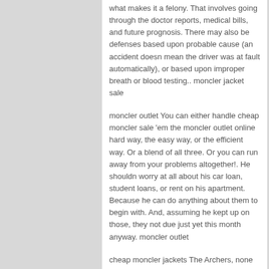what makes it a felony. That involves going through the doctor reports, medical bills, and future prognosis. There may also be defenses based upon probable cause (an accident doesn mean the driver was at fault automatically), or based upon improper breath or blood testing.. moncler jacket sale
moncler outlet You can either handle cheap moncler sale 'em the moncler outlet online hard way, the easy way, or the efficient way. Or a blend of all three. Or you can run away from your problems altogether!. He shouldn worry at all about his car loan, student loans, or rent on his apartment. Because he can do anything about them to begin with. And, assuming he kept up on those, they not due just yet this month anyway. moncler outlet
cheap moncler jackets The Archers, none the moncler outlet chicago less, has had ups and downs. Its first 40 years were tricky. BBC TV (never BBC radio's greatest supporter) didn't like it, radio drama producers sneered, teenagers mocked mothers who sought refuge from their own problems in those of fictional Phil and Jill.